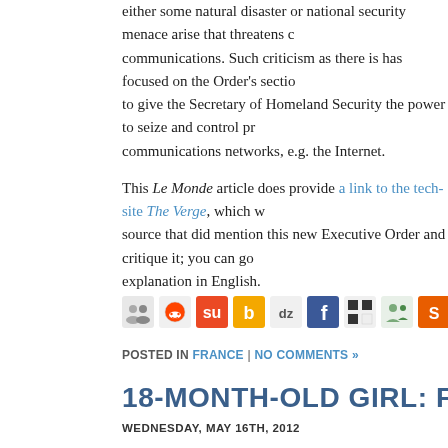either some natural disaster or national security menace arise that threatens communications. Such criticism as there is has focused on the Order's section to give the Secretary of Homeland Security the power to seize and control private communications networks, e.g. the Internet.
This Le Monde article does provide a link to the tech-site The Verge, which was a source that did mention this new Executive Order and critique it; you can go for explanation in English.
[Figure (other): Social media sharing icon bar with icons for various platforms including Reddit, StumbleUpon, Buzz, Digg, Facebook, Delicious, and others]
POSTED IN FRANCE | NO COMMENTS »
18-MONTH-OLD GIRL: FACE OF TERR
WEDNESDAY, MAY 16TH, 2012
OK America, you've had your fun with your TSA airport follies for far too long. Where to begin? You've repeatedly humiliated a major Southwest Asia movie star when he just because of his last name. You've had your "anomalies in the crotch area."
But now it's no longer just a matter of fun-and-games for a domestic audience.
Une fillette de 18 mois débarquée d'un avion pour